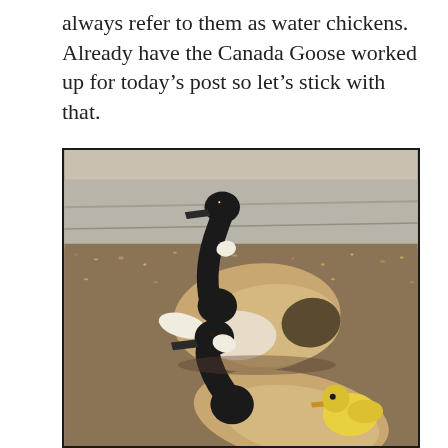always refer to them as water chickens. Already have the Canada Goose worked up for today's post so let's stick with that.
[Figure (photo): Photograph of a Canada Goose sitting on a gravel/mulch surface near a road, with another Canada Goose and a gosling (yellow chick) visible in the foreground below.]